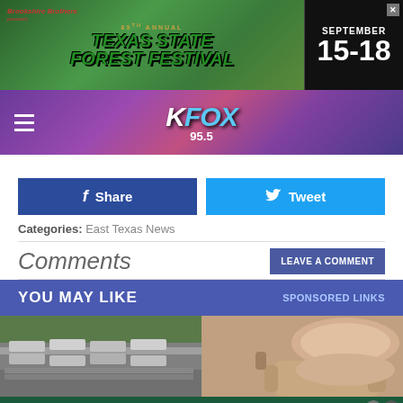[Figure (screenshot): Texas State Forest Festival advertisement banner with dates September 15-18]
[Figure (logo): KFOX 95.5 radio station navigation header with hamburger menu]
f  Share
Tweet
Categories: East Texas News
Comments
LEAVE A COMMENT
YOU MAY LIKE   SPONSORED LINKS
[Figure (photo): Cars on a transport truck carrier]
[Figure (photo): Beige/tan massage chair]
Tally - Fast credit card payoff - Download Now